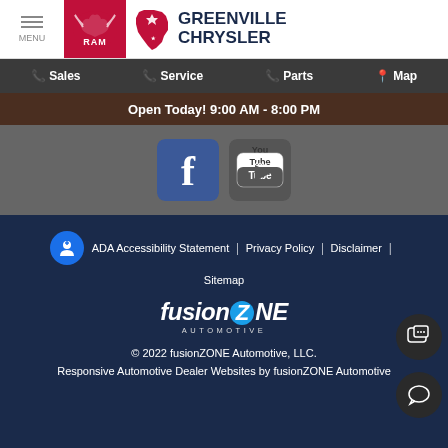[Figure (logo): RAM truck brand logo on red background and Greenville Chrysler dealer logo with Texas state outline]
Sales | Service | Parts | Map
Open Today! 9:00 AM - 8:00 PM
[Figure (logo): Facebook and YouTube social media icons]
ADA Accessibility Statement | Privacy Policy | Disclaimer | Sitemap
[Figure (logo): fusionZONE Automotive logo]
© 2022 fusionZONE Automotive, LLC. Responsive Automotive Dealer Websites by fusionZONE Automotive